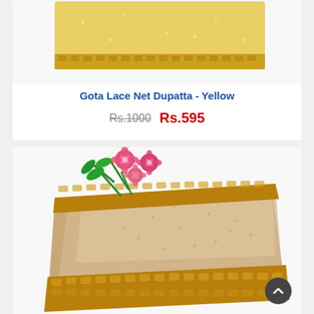[Figure (photo): Partial top view of a yellow dupatta with golden gota lace border on a white background]
Gota Lace Net Dupatta - Yellow
Rs.1000  Rs.595
[Figure (photo): Folded beige/golden net dupatta with wide golden gota lace border, displayed with pink artificial flowers on white background]